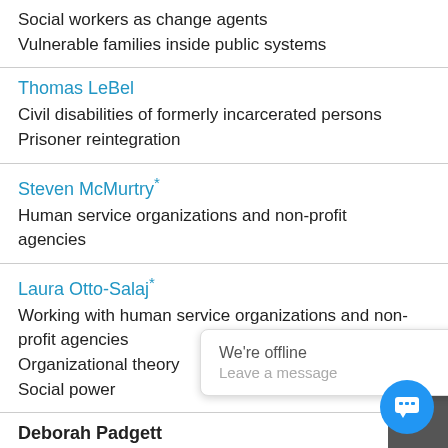Social workers as change agents
Vulnerable families inside public systems
Thomas LeBel
Civil disabilities of formerly incarcerated persons
Prisoner reintegration
Steven McMurtry*
Human service organizations and non-profit agencies
Laura Otto-Salaj*
Working with human service organizations and non-profit agencies
Organizational theory
Social power
Deborah Padgett
Management and ...